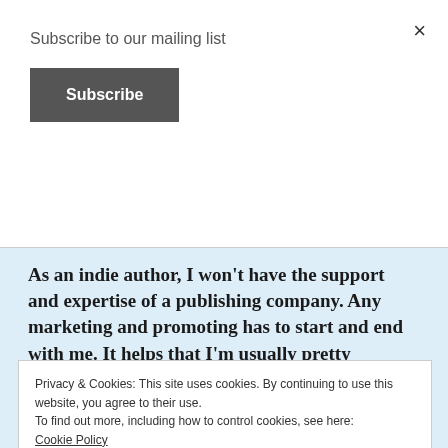×
Subscribe to our mailing list
Subscribe
As an indie author, I won't have the support and expertise of a publishing company. Any marketing and promoting has to start and end with me. It helps that I'm usually pretty organized since there are so many avenues and different levels to cover in order to give my first book being released from Story
Privacy & Cookies: This site uses cookies. By continuing to use this website, you agree to their use.
To find out more, including how to control cookies, see here:
Cookie Policy
Close and accept